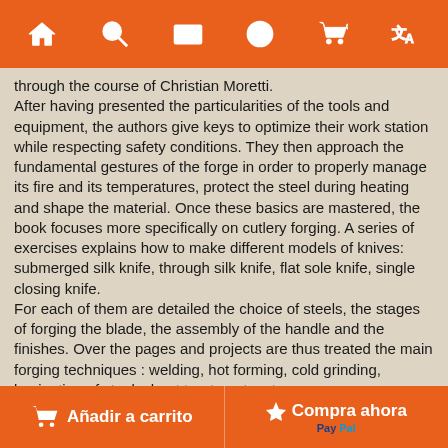Navigation bar with home, search, mail, info, cart, and translate icons
through the course of Christian Moretti.
After having presented the particularities of the tools and equipment, the authors give keys to optimize their work station while respecting safety conditions. They then approach the fundamental gestures of the forge in order to properly manage its fire and its temperatures, protect the steel during heating and shape the material. Once these basics are mastered, the book focuses more specifically on cutlery forging. A series of exercises explains how to make different models of knives: submerged silk knife, through silk knife, flat sole knife, single closing knife.
For each of them are detailed the choice of steels, the stages of forging the blade, the assembly of the handle and the finishes. Over the pages and projects are thus treated the main forging techniques : welding, hot forming, cold grinding, laminating of steels, heat treatments, etc.
Very complete, this richly illustrated manual will appeal to apprentice tailors as well as metal professionals wishing to reconnect with traditional forging.
Añadir a carrito | Compra ahora | PayPal